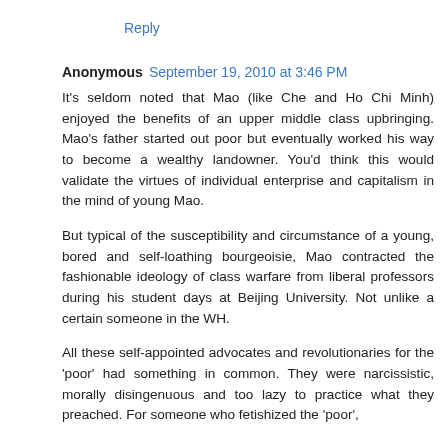Reply
Anonymous  September 19, 2010 at 3:46 PM
It's seldom noted that Mao (like Che and Ho Chi Minh) enjoyed the benefits of an upper middle class upbringing. Mao's father started out poor but eventually worked his way to become a wealthy landowner. You'd think this would validate the virtues of individual enterprise and capitalism in the mind of young Mao.
But typical of the susceptibility and circumstance of a young, bored and self-loathing bourgeoisie, Mao contracted the fashionable ideology of class warfare from liberal professors during his student days at Beijing University. Not unlike a certain someone in the WH.
All these self-appointed advocates and revolutionaries for the 'poor' had something in common. They were narcissistic, morally disingenuous and too lazy to practice what they preached. For someone who fetishized the 'poor', Mao...